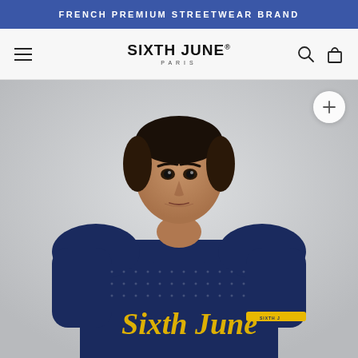FRENCH PREMIUM STREETWEAR BRAND
[Figure (logo): Sixth June Paris brand logo with hamburger menu, search icon, and bag icon in navigation bar]
[Figure (photo): Male model wearing a navy blue mesh football jersey with yellow 'Sixth June' script lettering on the chest and a yellow stripe on the sleeve, photographed from upper torso up against a light grey background]